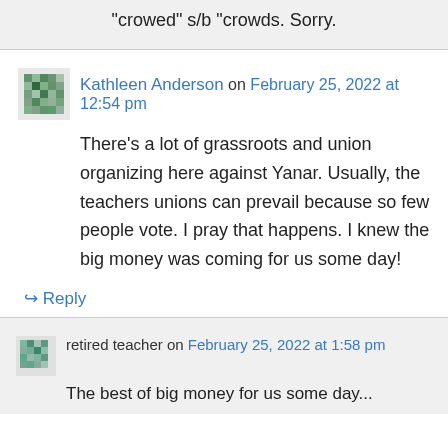“crowed” s/b “crowds. Sorry.
Kathleen Anderson on February 25, 2022 at 12:54 pm
There’s a lot of grassroots and union organizing here against Yanar. Usually, the teachers unions can prevail because so few people vote. I pray that happens. I knew the big money was coming for us some day!
↪ Reply
retired teacher on February 25, 2022 at 1:58 pm